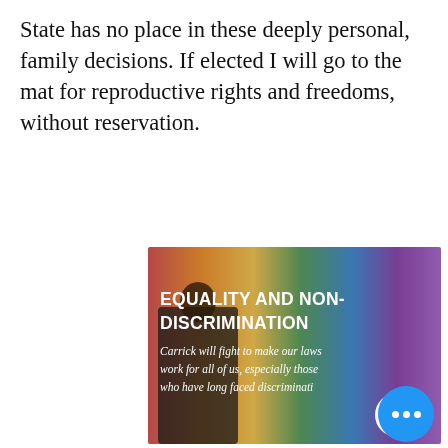State has no place in these deeply personal, family decisions. If elected I will go to the mat for reproductive rights and freedoms, without reservation.
[Figure (photo): Banner image with rainbow-colored splash paint background and a person standing with arms crossed. Text overlay reads 'EQUALITY AND NON-DISCRIMINATION' in bold white, and italic white text below: 'Carrick will fight to make our laws work for all of us, especially those who have long faced discrimination'. A circular chevron-up button is visible in the lower right of the image.]
There is no place for any form of discrimination in America. I wholeheartedly stand with all communities for the right to live authentically without fear. If